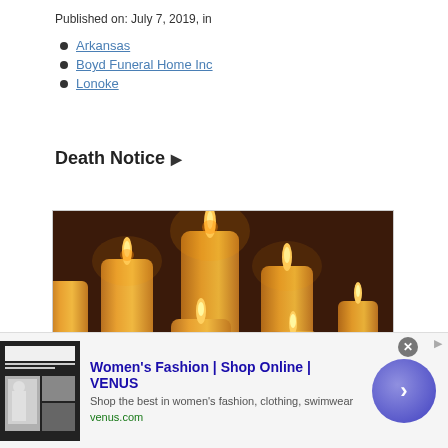Published on: July 7, 2019, in
Arkansas
Boyd Funeral Home Inc
Lonoke
Death Notice ▶
[Figure (photo): Multiple lit yellow pillar candles against a dark brown/maroon wooden background]
[Figure (infographic): Advertisement for VENUS women's fashion. Shows thumbnail of website, bold title 'Women's Fashion | Shop Online | VENUS', subtitle 'Shop the best in women's fashion, clothing, swimwear', URL 'venus.com', and a circular blue button with right arrow.]